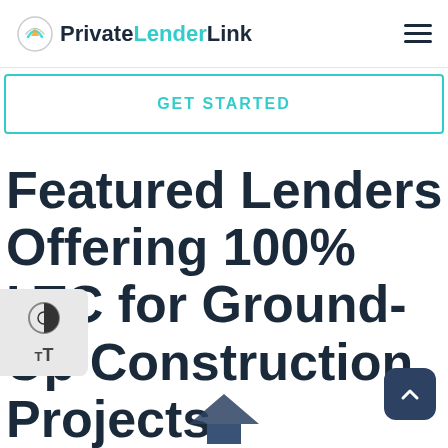PrivateLenderLink
GET STARTED
Featured Lenders Offering 100% LTC for Ground-Up Construction Projects
[Figure (other): Accessibility widget with contrast toggle and text size controls on left side]
[Figure (other): Back to top chevron button, dark navy rounded square, bottom right]
[Figure (illustration): Partial house/building icon at bottom center of page]